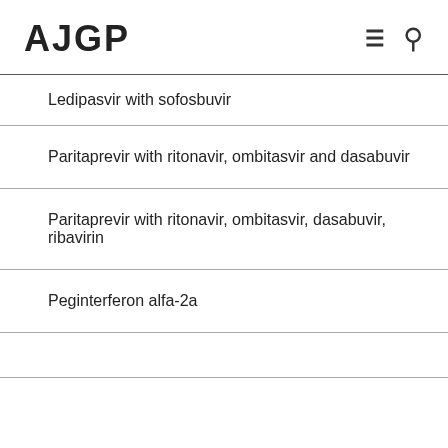AJGP
| Ledipasvir with sofosbuvir |
| Paritaprevir with ritonavir, ombitasvir and dasabuvir |
| Paritaprevir with ritonavir, ombitasvir, dasabuvir, ribavirin |
| Peginterferon alfa-2a |
|  |